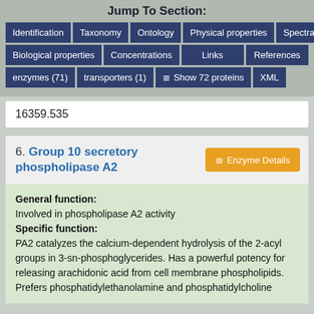Jump To Section:
Identification | Taxonomy | Ontology | Physical properties | Spectra
Biological properties | Concentrations | Links | References
enzymes (71) | transporters (1) | Show 72 proteins | XML
16359.535
6. Group 10 secretory phospholipase A2
General function:
Involved in phospholipase A2 activity
Specific function:
PA2 catalyzes the calcium-dependent hydrolysis of the 2-acyl groups in 3-sn-phosphoglycerides. Has a powerful potency for releasing arachidonic acid from cell membrane phospholipids. Prefers phosphatidylethanolamine and phosphatidylcholine